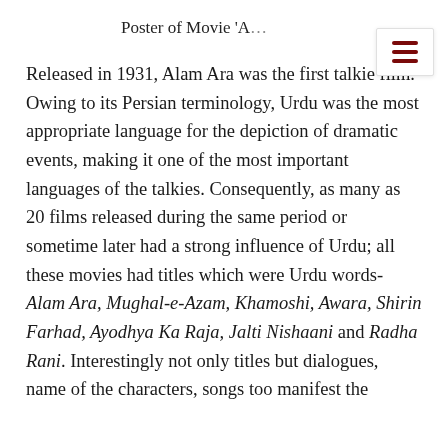Poster of Movie 'A...'
Released in 1931, Alam Ara was the first talkie film. Owing to its Persian terminology, Urdu was the most appropriate language for the depiction of dramatic events, making it one of the most important languages of the talkies. Consequently, as many as 20 films released during the same period or sometime later had a strong influence of Urdu; all these movies had titles which were Urdu words- Alam Ara, Mughal-e-Azam, Khamoshi, Awara, Shirin Farhad, Ayodhya Ka Raja, Jalti Nishaani and Radha Rani. Interestingly not only titles but dialogues, name of the characters, songs too manifest the